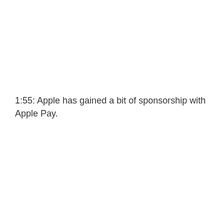1:55: Apple has gained a bit of sponsorship with Apple Pay.